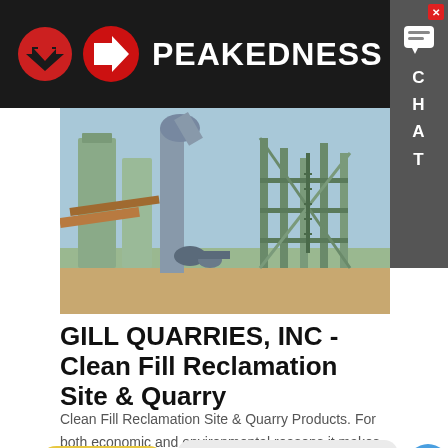PEAKEDNESS
[Figure (photo): Industrial quarry or concrete plant machinery with green scaffolding, silos, pipes, and conveyors under a clear blue sky]
GILL QUARRIES, INC - Clean Fill Reclamation Site & Quarry
Clean Fill Reclamation Site & Quarry Products. For both economic and environmental reasons it makes sense to tak…
Learn More
Hey, we are live 24/7. How may I help you?